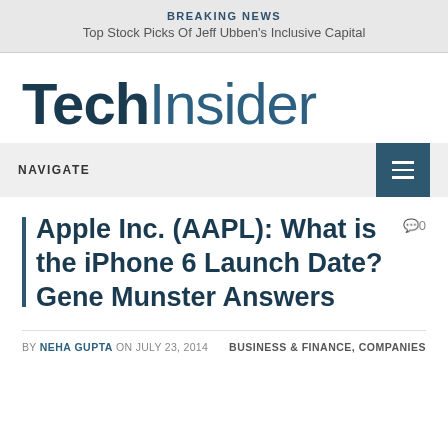BREAKING NEWS
Top Stock Picks Of Jeff Ubben's Inclusive Capital
TechInsider
NAVIGATE
Apple Inc. (AAPL): What is the iPhone 6 Launch Date? Gene Munster Answers
BY NEHA GUPTA ON JULY 23, 2014   BUSINESS & FINANCE, COMPANIES